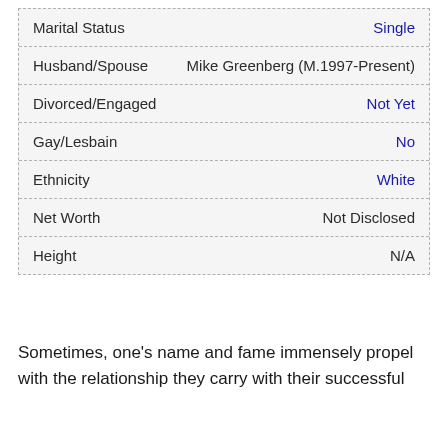| Field | Value |
| --- | --- |
| Marital Status | Single |
| Husband/Spouse | Mike Greenberg (M.1997-Present) |
| Divorced/Engaged | Not Yet |
| Gay/Lesbain | No |
| Ethnicity | White |
| Net Worth | Not Disclosed |
| Height | N/A |
Sometimes, one's name and fame immensely propel with the relationship they carry with their successful